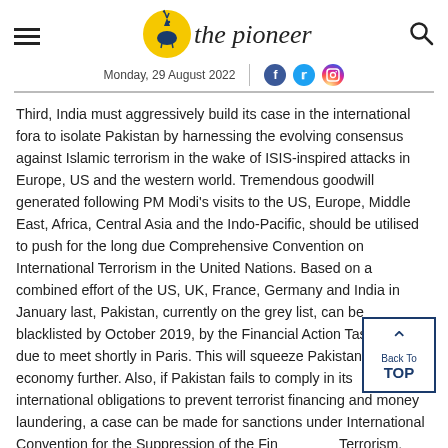the pioneer — Monday, 29 August 2022
Third, India must aggressively build its case in the international fora to isolate Pakistan by harnessing the evolving consensus against Islamic terrorism in the wake of ISIS-inspired attacks in Europe, US and the western world. Tremendous goodwill generated following PM Modi's visits to the US, Europe, Middle East, Africa, Central Asia and the Indo-Pacific, should be utilised to push for the long due Comprehensive Convention on International Terrorism in the United Nations. Based on a combined effort of the US, UK, France, Germany and India in January last, Pakistan, currently on the grey list, can be blacklisted by October 2019, by the Financial Action Task Force, due to meet shortly in Paris. This will squeeze Pakistan's tattered economy further. Also, if Pakistan fails to comply in its international obligations to prevent terrorist financing and money laundering, a case can be made for sanctions under International Convention for the Suppression of the Financing of Terrorism.
Fourth, on the military front, as Bolton advised Doval, there is a